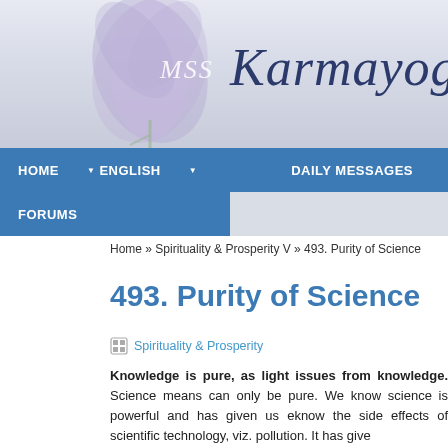[Figure (logo): MSS Karmayogi website header banner with stylized flower/lotus in light purple/lavender tones and italic text 'MSS' overlaid, with 'Karmayogi.' in dark navy italic serif font on the right]
HOME  ▼ ENGLISH  ▼ हिन्दी  DAILY MESSAGES  FORUMS
Home » Spirituality & Prosperity V » 493. Purity of Science
493. Purity of Science
Spirituality & Prosperity
Knowledge is pure, as light issues from knowledge. Science means knowledge and can only be pure. We know science is powerful and has given us enormous power. We also know the side effects of scientific technology, viz. pollution. It has given boons and banes. The philosophy of science being pure knowledge at its origin, means No Evil in life. The layman confuses technology, rather scientific technology, with science, being the personification of purity, cannot generate evil while